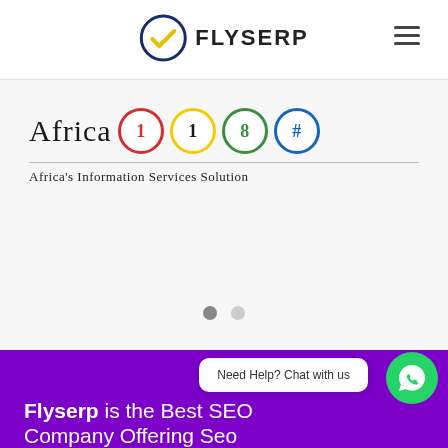[Figure (logo): FLYSERP logo with checkmark icon and text FLYSERP, plus hamburger menu icon]
[Figure (logo): Africa 118 logo with colored numbered circle badges (1, 1, 8, #) and tagline: Africa's Information Services Solution]
Need Help? Chat with us
Flyserp is the Best SEO Company Offering Seo